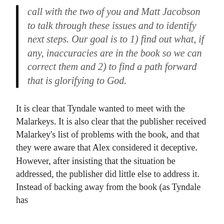call with the two of you and Matt Jacobson to talk through these issues and to identify next steps. Our goal is to 1) find out what, if any, inaccuracies are in the book so we can correct them and 2) to find a path forward that is glorifying to God.
It is clear that Tyndale wanted to meet with the Malarkeys. It is also clear that the publisher received Malarkey's list of problems with the book, and that they were aware that Alex considered it deceptive. However, after insisting that the situation be addressed, the publisher did little else to address it. Instead of backing away from the book (as Tyndale has